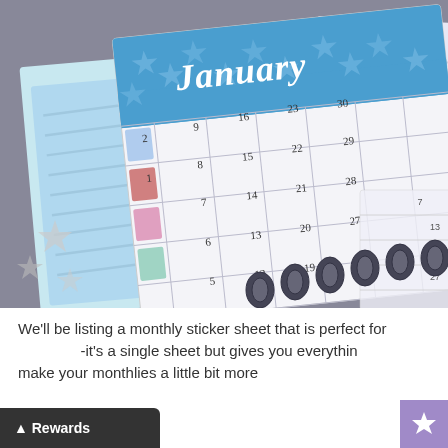[Figure (photo): Photograph of a disc-bound planner open to a January monthly calendar page with blue star decorative header, colorful sidebar stickers, and spiral binding rings visible. Other planner pages and star decorations visible in background.]
We'll be listing a monthly sticker sheet that is perfect for --it's a single sheet but gives you everything make your monthlies a little bit more